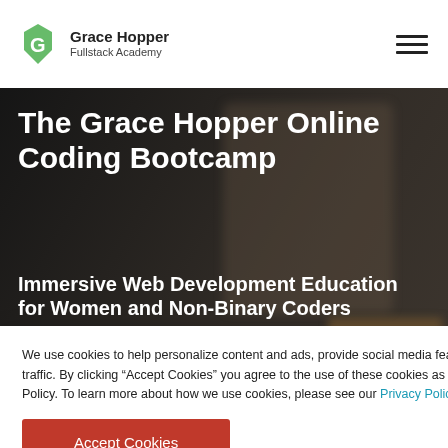Grace Hopper Fullstack Academy
The Grace Hopper Online Coding Bootcamp
Immersive Web Development Education for Women and Non-Binary Coders
We use cookies to help personalize content and ads, provide social media features, and analyze our traffic. By clicking “Accept Cookies” you agree to the use of these cookies as described in our Privacy Policy. To learn more about how we use cookies, please see our Privacy Policy.
Accept Cookies